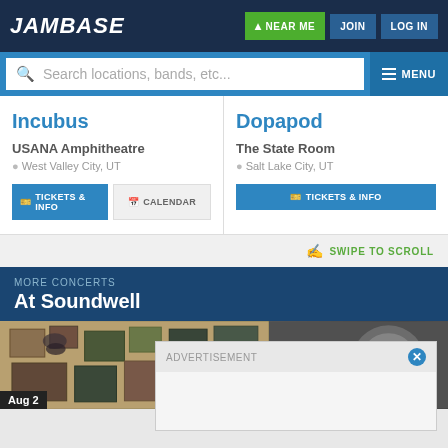JamBase | NEAR ME | JOIN | LOG IN
Search locations, bands, etc... | MENU
Incubus
USANA Amphitheatre
West Valley City, UT
TICKETS & INFO | CALENDAR
Dopapod
The State Room
Salt Lake City, UT
TICKETS & INFO
SWIPE TO SCROLL
MORE CONCERTS
At Soundwell
[Figure (photo): Photo of a wall with eclectic artwork, frames and decorations]
[Figure (photo): Black and white photo of a microphone]
Aug 2
ADVERTISEMENT